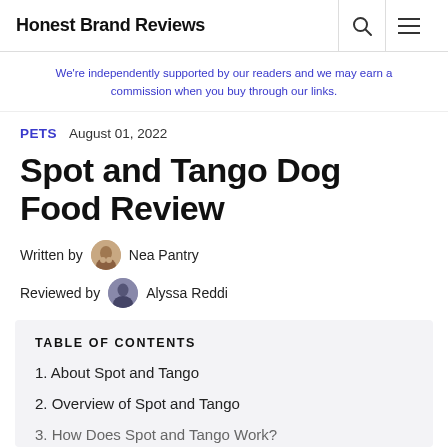Honest Brand Reviews
We're independently supported by our readers and we may earn a commission when you buy through our links.
PETS  August 01, 2022
Spot and Tango Dog Food Review
Written by  Nea Pantry
Reviewed by  Alyssa Reddi
| TABLE OF CONTENTS |
| --- |
| 1. About Spot and Tango |
| 2. Overview of Spot and Tango |
| 3. How Does Spot and Tango Work? |